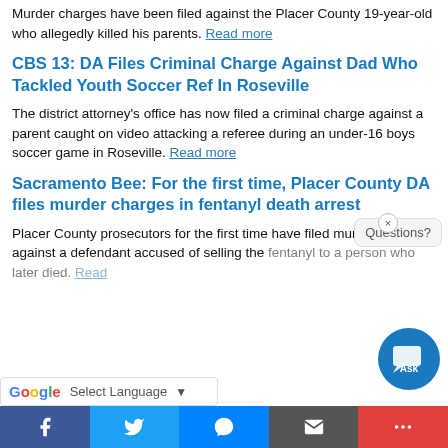Murder charges have been filed against the Placer County 19-year-old who allegedly killed his parents. Read more
CBS 13: DA Files Criminal Charge Against Dad Who Tackled Youth Soccer Ref In Roseville
The district attorney’s office has now filed a criminal charge against a parent caught on video attacking a referee during an under-16 boys soccer game in Roseville. Read more
Sacramento Bee: For the first time, Placer County DA files murder charges in fentanyl death arrest
Placer County prosecutors for the first time have filed murder charges against a defendant accused of selling the fentanyl to a person who later died. Read
[Figure (screenshot): Chat widget with 'Questions?' bubble and blue circular Ask button with speech bubble icon]
[Figure (screenshot): Google Translate bar at bottom of page with 'Select Language' dropdown]
[Figure (screenshot): Social sharing footer bar with Facebook, Twitter, Messenger, email, and more buttons]